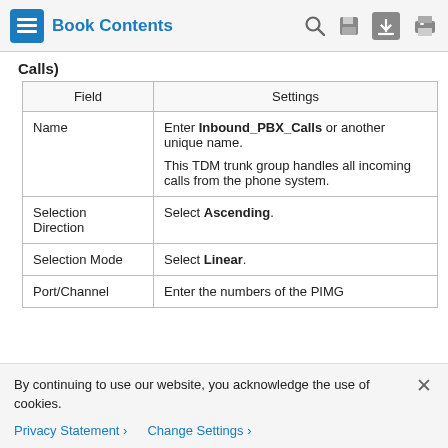Book Contents
Calls)
| Field | Settings |
| --- | --- |
| Name | Enter Inbound_PBX_Calls or another unique name.
This TDM trunk group handles all incoming calls from the phone system. |
| Selection Direction | Select Ascending. |
| Selection Mode | Select Linear. |
| Port/Channel | Enter the numbers of the PIMG |
By continuing to use our website, you acknowledge the use of cookies.
Privacy Statement > Change Settings >